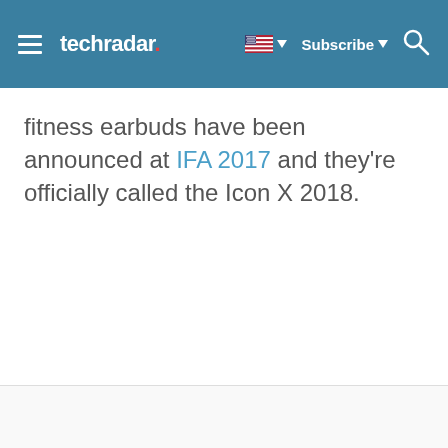techradar — Subscribe
fitness earbuds have been announced at IFA 2017 and they're officially called the Icon X 2018.